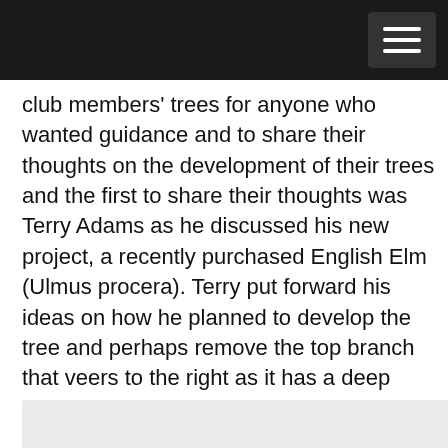club members' trees for anyone who wanted guidance and to share their thoughts on the development of their trees and the first to share their thoughts was Terry Adams as he discussed his new project, a recently purchased English Elm (Ulmus procera). Terry put forward his ideas on how he planned to develop the tree and perhaps remove the top branch that veers to the right as it has a deep undercut. He talked about whether he would air layer it as well as develop the other elements of the tree that formed a natural raft. He also proposed to drill through the cavity and develop a central crown on the main trunk and subsidiary crowns on the side trunks to the right.